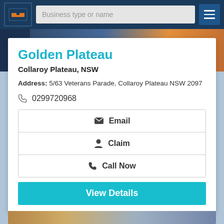Business type or name
Golden Plateau
Collaroy Plateau, NSW
Address: 5/63 Veterans Parade, Collaroy Plateau NSW 2097
0299720968
Email
Claim
Call Now
View Details